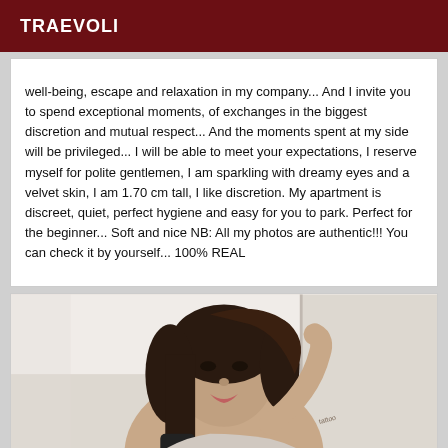TRAEVOLI
well-being, escape and relaxation in my company... And I invite you to spend exceptional moments, of exchanges in the biggest discretion and mutual respect... And the moments spent at my side will be privileged... I will be able to meet your expectations, I reserve myself for polite gentlemen, I am sparkling with dreamy eyes and a velvet skin, I am 1.70 cm tall, I like discretion. My apartment is discreet, quiet, perfect hygiene and easy for you to park. Perfect for the beginner... Soft and nice NB: All my photos are authentic!!! You can check it by yourself... 100% REAL
[Figure (photo): A woman with dark hair taking a mirror selfie, holding a phone, with a tattoo visible on her arm.]